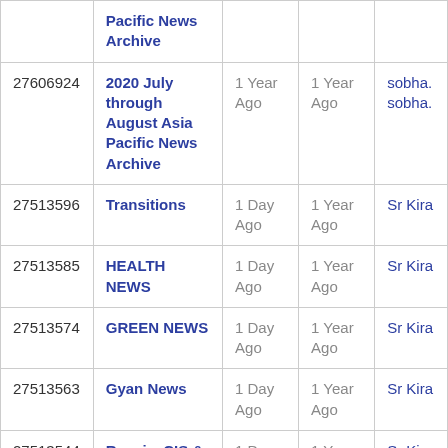| ID | Name | Col3 | Col4 | Col5 |
| --- | --- | --- | --- | --- |
|  | Pacific News Archive |  |  |  |
| 27606924 | 2020 July through August Asia Pacific News Archive | 1 Year Ago | 1 Year Ago | sobha.
sobha. |
| 27513596 | Transitions | 1 Day Ago | 1 Year Ago | Sr Kira |
| 27513585 | HEALTH NEWS | 1 Day Ago | 1 Year Ago | Sr Kira |
| 27513574 | GREEN NEWS | 1 Day Ago | 1 Year Ago | Sr Kira |
| 27513563 | Gyan News | 1 Day Ago | 1 Year Ago | Sr Kira |
| 27513544 | Russia, CIS & Balkans | 1 Day Ago | 1 Year Ago | Sr Kira |
| 27513528 | Middle East | 27 Days | 1 Year | Sr Kira |